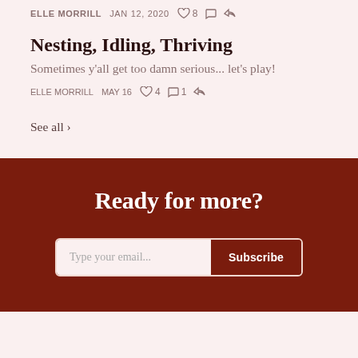ELLE MORRILL  JAN 12, 2020  ♡8  ○  ⤷
Nesting, Idling, Thriving
Sometimes y'all get too damn serious... let's play!
ELLE MORRILL  MAY 16  ♡4  ○1  ⤷
See all ›
Ready for more?
Type your email...  Subscribe